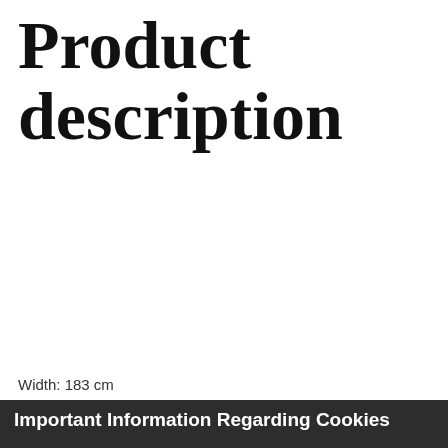Product description
Width: 183 cm
Important Information Regarding Cookies
Accept & Close
Bioethanol Fires uses cookies to enhance your browsing experience and to create a secure and effective website for our customers. By using this site you agree that we may store and access cookies on your devices, unless you have disabled cookies on your browser. You can find out more on our cookie policy here.